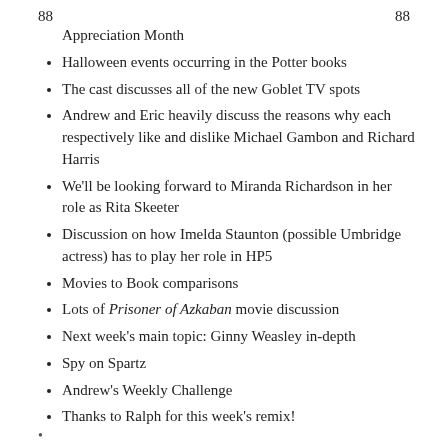Appreciation Month
Halloween events occurring in the Potter books
The cast discusses all of the new Goblet TV spots
Andrew and Eric heavily discuss the reasons why each respectively like and dislike Michael Gambon and Richard Harris
We'll be looking forward to Miranda Richardson in her role as Rita Skeeter
Discussion on how Imelda Staunton (possible Umbridge actress) has to play her role in HP5
Movies to Book comparisons
Lots of Prisoner of Azkaban movie discussion
Next week's main topic: Ginny Weasley in-depth
Spy on Spartz
Andrew's Weekly Challenge
Thanks to Ralph for this week's remix!